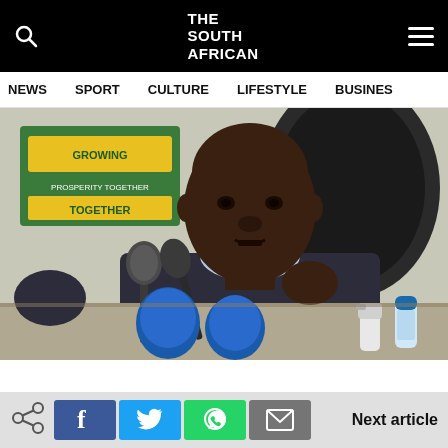THE SOUTH AFRICAN
NEWS  SPORT  CULTURE  LIFESTYLE  BUSINESS
[Figure (photo): A man in a dark suit sitting at a press conference table with microphones, in front of an ANC banner reading 'Growing Prosperity Together']
Next article